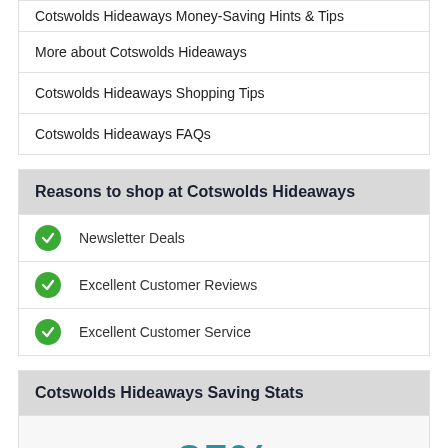Cotswolds Hideaways Money-Saving Hints & Tips
More about Cotswolds Hideaways
Cotswolds Hideaways Shopping Tips
Cotswolds Hideaways FAQs
Reasons to shop at Cotswolds Hideaways
Newsletter Deals
Excellent Customer Reviews
Excellent Customer Service
Cotswolds Hideaways Saving Stats
25% BEST DISCOUNT